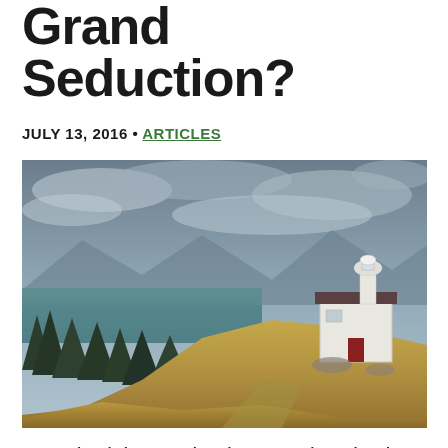Grand Seduction?
JULY 13, 2016 • ARTICLES
[Figure (photo): A small white lighthouse building with a red door on a rocky coastal hillside, with dark evergreen trees in the foreground and an overcast sky and ocean/bay visible in the background.]
I watched the movie The Grand Seduction recently and have been thinking about it in the context of community ever since. Somehow this little indie movie